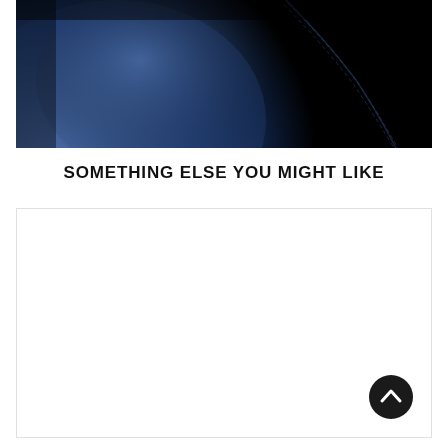[Figure (photo): Close-up of dark blue leather car seat with stitching detail against black background]
SOMETHING ELSE YOU MIGHT LIKE
[Figure (photo): White/blank card placeholder area with a circular back-to-top arrow button in the lower right corner]